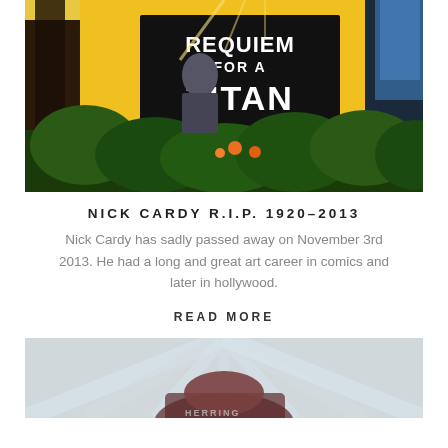[Figure (illustration): Comic book cover art showing a person in a graveyard setting with yellow background and large black banner reading 'REQUIEM FOR A TITAN' with green foliage and orange flowers in the foreground]
NICK CARDY R.I.P. 1920-2013
Nick Cardy has sadly passed away on November 3rd 2013. He had a long and great art career in comics and later in hollywood.
READ MORE
[Figure (illustration): Partial view of another comic book illustration showing a figure with radiating light lines, partially visible]